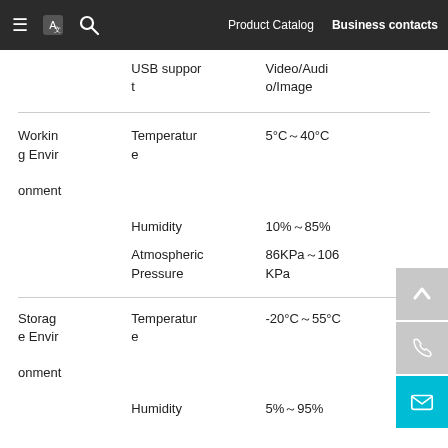Product Catalog   Business contacts
| Category | Parameter | Value |
| --- | --- | --- |
|  | USB support | Video/Audio/Image |
| Working Environment | Temperature | 5°C～40°C |
|  | Humidity | 10%～85% |
|  | Atmospheric Pressure | 86KPa～106KPa |
| Storage Environment | Temperature | -20°C～55°C |
|  | Humidity | 5%～95% |